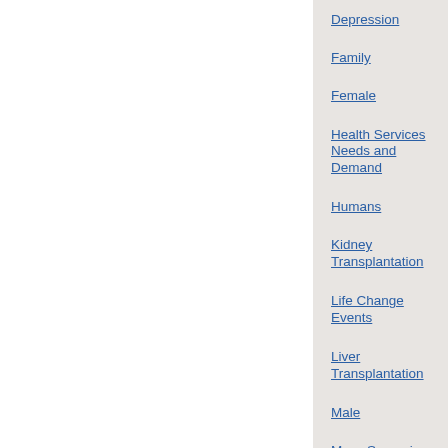Depression
Family
Female
Health Services Needs and Demand
Humans
Kidney Transplantation
Life Change Events
Liver Transplantation
Male
Mass Screening
Middle Aged